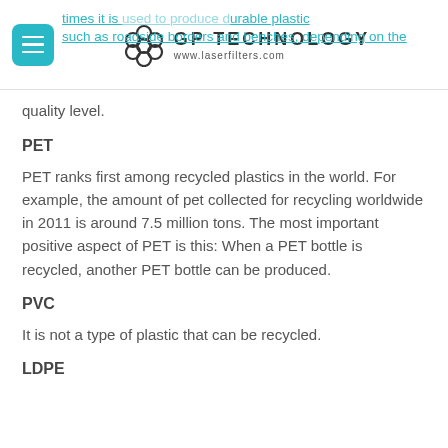GP TECHNOLOGY www.laserfilters.com
times it is used to produce durable plastic such as roadside borders and benches, depending on the quality level.
PET
PET ranks first among recycled plastics in the world. For example, the amount of pet collected for recycling worldwide in 2011 is around 7.5 million tons. The most important positive aspect of PET is this: When a PET bottle is recycled, another PET bottle can be produced.
PVC
It is not a type of plastic that can be recycled.
LDPE